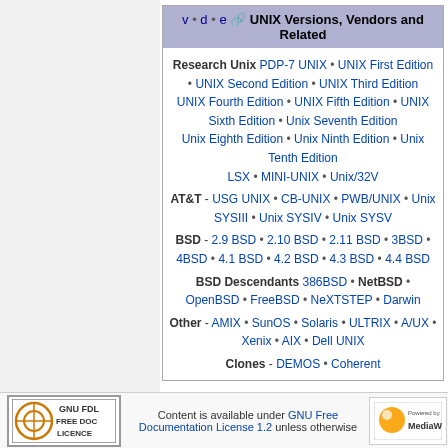| v • d • e  UNIX Versions, Vendors and Related |
| Research Unix PDP-7 UNIX • UNIX First Edition • UNIX Second Edition • UNIX Third Edition UNIX Fourth Edition • UNIX Fifth Edition • UNIX Sixth Edition • Unix Seventh Edition Unix Eighth Edition • Unix Ninth Edition • Unix Tenth Edition LSX • MINI-UNIX • Unix/32V |
| AT&T - USG UNIX • CB-UNIX • PWB/UNIX • Unix SYSIII • Unix SYSIV • Unix SYSV |
| BSD - 2.9 BSD • 2.10 BSD • 2.11 BSD • 3BSD • 4BSD • 4.1 BSD • 4.2 BSD • 4.3 BSD • 4.4 BSD |
| BSD Descendants 386BSD • NetBSD • OpenBSD • FreeBSD • NeXTSTEP • Darwin |
| Other - AMIX • SunOS • Solaris • ULTRIX • A/UX • Xenix • AIX • Dell UNIX |
| Clones - DEMOS • Coherent |
Content is available under GNU Free Documentation License 1.2 unless otherwise